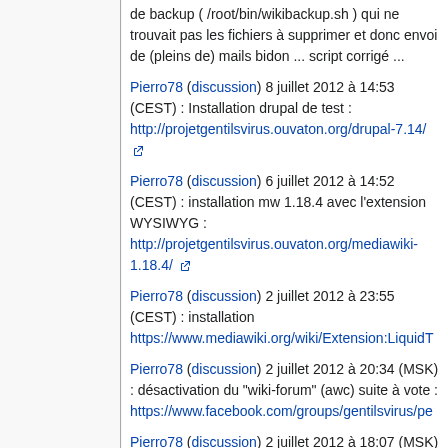de backup ( /root/bin/wikibackup.sh ) qui ne trouvait pas les fichiers à supprimer et donc envoi de (pleins de) mails bidon ... script corrigé ...
Pierro78 (discussion) 8 juillet 2012 à 14:53 (CEST) : Installation drupal de test : http://projetgentilsvirus.ouvaton.org/drupal-7.14/
Pierro78 (discussion) 6 juillet 2012 à 14:52 (CEST) : installation mw 1.18.4 avec l'extension WYSIWYG : http://projetgentilsvirus.ouvaton.org/mediawiki-1.18.4/
Pierro78 (discussion) 2 juillet 2012 à 23:55 (CEST) : installation https://www.mediawiki.org/wiki/Extension:LiquidT
Pierro78 (discussion) 2 juillet 2012 à 20:34 (MSK) : désactivation du "wiki-forum" (awc) suite à vote : https://www.facebook.com/groups/gentilsvirus/pe
Pierro78 (discussion) 2 juillet 2012 à 18:07 (MSK) : chicagovps m'a répondu en disant